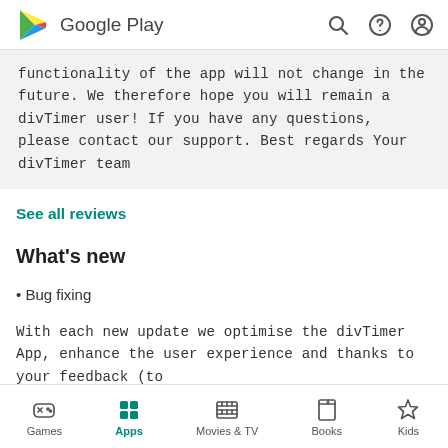Google Play
functionality of the app will not change in the future. We therefore hope you will remain a divTimer user! If you have any questions, please contact our support. Best regards Your divTimer team
See all reviews
What's new
• Bug fixing
With each new update we optimise the divTimer App, enhance the user experience and thanks to your feedback (to
Games  Apps  Movies & TV  Books  Kids